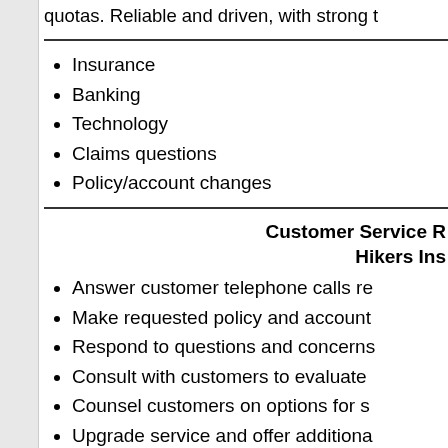quotas. Reliable and driven, with strong t
Insurance
Banking
Technology
Claims questions
Policy/account changes
Customer Service R
Hikers Ins
Answer customer telephone calls re
Make requested policy and account
Respond to questions and concerns
Consult with customers to evaluate
Counsel customers on options for s
Upgrade service and offer additiona
Consistently improve customer satis and concerns.